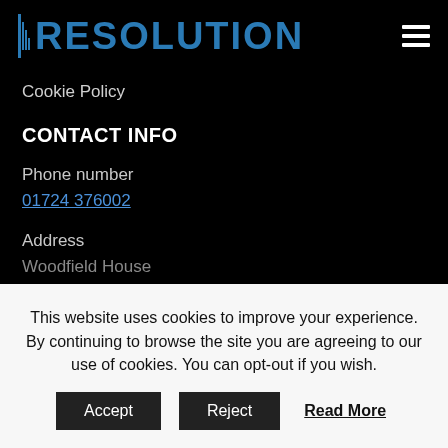[Figure (logo): Resolution company logo with text RESOLUTION in blue/teal on black background, with hamburger menu icon on the right]
Cookie Policy
CONTACT INFO
Phone number
01724 376002
Address
Woodfield House
This website uses cookies to improve your experience. By continuing to browse the site you are agreeing to our use of cookies. You can opt-out if you wish.
Accept   Reject   Read More